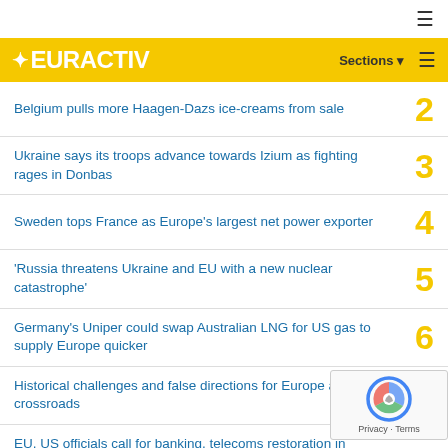EURACTIV
Belgium pulls more Haagen-Dazs ice-creams from sale
Ukraine says its troops advance towards Izium as fighting rages in Donbas
Sweden tops France as Europe's largest net power exporter
'Russia threatens Ukraine and EU with a new nuclear catastrophe'
Germany's Uniper could swap Australian LNG for US gas to supply Europe quicker
Historical challenges and false directions for Europe at the crossroads
EU, US officials call for banking, telecoms restoration in Ethiopia's Tigray